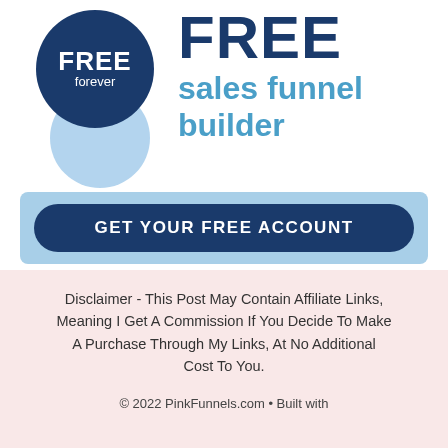[Figure (logo): Two overlapping circles: large dark navy blue circle with 'FREE forever' text in white, and smaller light blue circle below-right. Beside them, large bold navy 'FREE' heading with blue 'sales funnel builder' subheading.]
GET YOUR FREE ACCOUNT
Disclaimer -  This Post May Contain Affiliate Links, Meaning I Get A Commission If You Decide To Make A Purchase Through My Links, At No Additional Cost To You.
© 2022 PinkFunnels.com • Built with